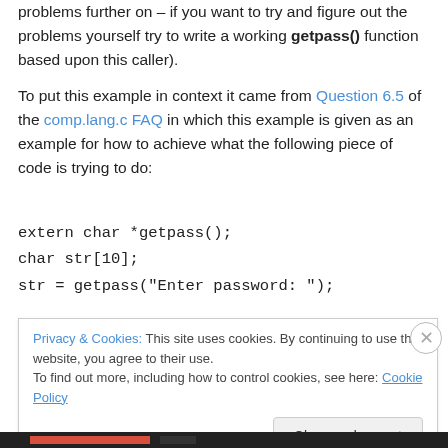problems further on – if you want to try and figure out the problems yourself try to write a working getpass() function based upon this caller).
To put this example in context it came from Question 6.5 of the comp.lang.c FAQ in which this example is given as an example for how to achieve what the following piece of code is trying to do:
extern char *getpass();
char str[10];
str = getpass("Enter password: ");
Privacy & Cookies: This site uses cookies. By continuing to use this website, you agree to their use.
To find out more, including how to control cookies, see here: Cookie Policy